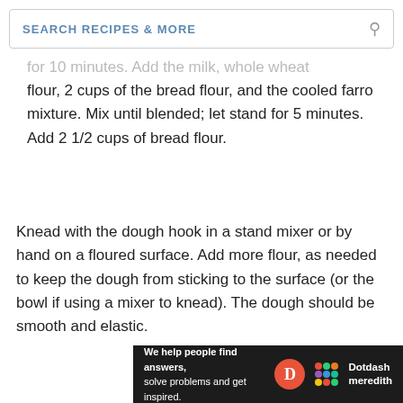SEARCH RECIPES & MORE
flour, 2 cups of the bread flour, and the cooled farro mixture. Mix until blended; let stand for 5 minutes. Add 2 1/2 cups of bread flour.
Knead with the dough hook in a stand mixer or by hand on a floured surface. Add more flour, as needed to keep the dough from sticking to the surface (or the bowl if using a mixer to knead). The dough should be smooth and elastic.
[Figure (other): Dotdash Meredith advertisement banner: 'We help people find answers, solve problems and get inspired.' with Dotdash Meredith logo]